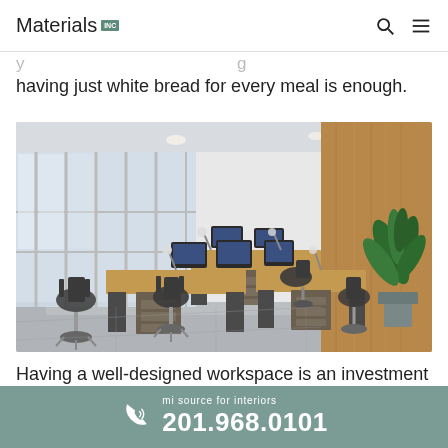Materials Inc
having just white bread for every meal is enough.
[Figure (photo): Modern open-plan office interior with rows of wooden desks, black office chairs, desktop computers with monitors, desk lamps, large floor-to-ceiling windows on the left letting in natural light, a wooden accent wall on the right, and a large green tropical plant in the corner on a polished concrete floor.]
Having a well-designed workspace is an investment
mi source for interiors 201.968.0101